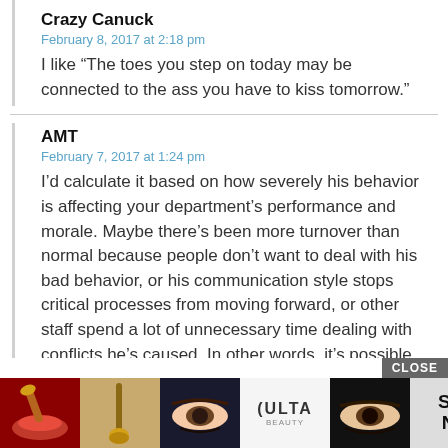Crazy Canuck
February 8, 2017 at 2:18 pm
I like “The toes you step on today may be connected to the ass you have to kiss tomorrow.”
AMT
February 7, 2017 at 1:24 pm
I’d calculate it based on how severely his behavior is affecting your department’s performance and morale. Maybe there’s been more turnover than normal because people don’t want to deal with his bad behavior, or his communication style stops critical processes from moving forward, or other staff spend a lot of unnecessary time dealing with conflicts he’s caused. In other words, it’s possible that his stellar performance isn’t actually making your department any more successful on balance than an average performer with a more pleasant personality would.
If tha… “unre… some…
[Figure (screenshot): Ulta beauty advertisement overlay with close button, showing makeup product images and SHOP NOW button]